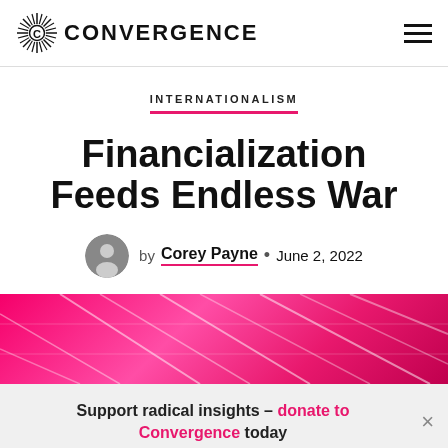CONVERGENCE
INTERNATIONALISM
Financialization Feeds Endless War
by Corey Payne • June 2, 2022
[Figure (photo): Pink-tinted industrial or architectural photo with diagonal white lines on a vivid pink/magenta background]
Support radical insights – donate to Convergence today